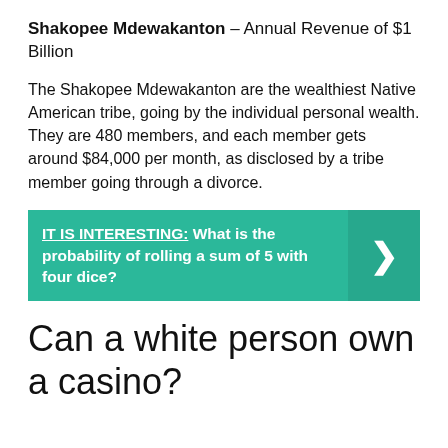Shakopee Mdewakanton – Annual Revenue of $1 Billion
The Shakopee Mdewakanton are the wealthiest Native American tribe, going by the individual personal wealth. They are 480 members, and each member gets around $84,000 per month, as disclosed by a tribe member going through a divorce.
[Figure (infographic): Teal banner with bold white text reading 'IT IS INTERESTING: What is the probability of rolling a sum of 5 with four dice?' with a right-arrow chevron on the right side.]
Can a white person own a casino?